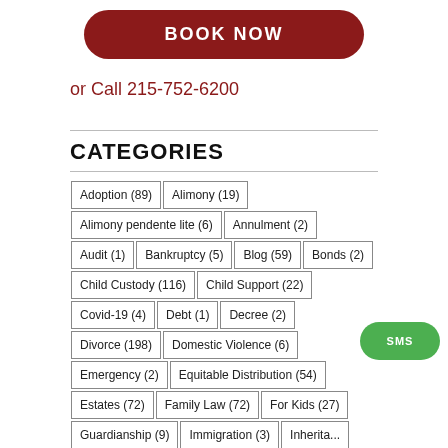[Figure (other): Dark red rounded button with white text 'BOOK NOW']
or Call 215-752-6200
CATEGORIES
Adoption (89)
Alimony (19)
Alimony pendente lite (6)
Annulment (2)
Audit (1)
Bankruptcy (5)
Blog (59)
Bonds (2)
Child Custody (116)
Child Support (22)
Covid-19 (4)
Debt (1)
Decree (2)
Divorce (198)
Domestic Violence (6)
Emergency (2)
Equitable Distribution (54)
Estates (72)
Family Law (72)
For Kids (27)
Guardianship (9)
Immigration (3)
Inheritance
Jurisdiction (3)
Landlord Tenant (16)
Marriage (18)
Medical (1)
Name Change (14)
Parenting (16)
Paternity (4)